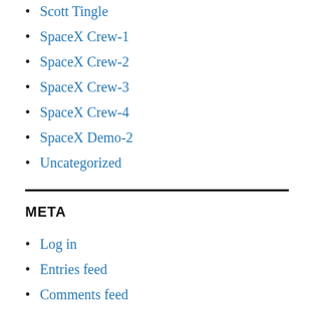Scott Tingle
SpaceX Crew-1
SpaceX Crew-2
SpaceX Crew-3
SpaceX Crew-4
SpaceX Demo-2
Uncategorized
META
Log in
Entries feed
Comments feed
WordPress.org